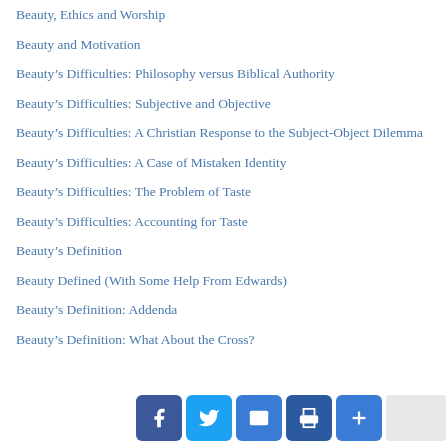Beauty, Ethics and Worship
Beauty and Motivation
Beauty's Difficulties: Philosophy versus Biblical Authority
Beauty's Difficulties: Subjective and Objective
Beauty's Difficulties: A Christian Response to the Subject-Object Dilemma
Beauty's Difficulties: A Case of Mistaken Identity
Beauty's Difficulties: The Problem of Taste
Beauty's Difficulties: Accounting for Taste
Beauty's Definition
Beauty Defined (With Some Help From Edwards)
Beauty's Definition: Addenda
Beauty's Definition: What About the Cross?